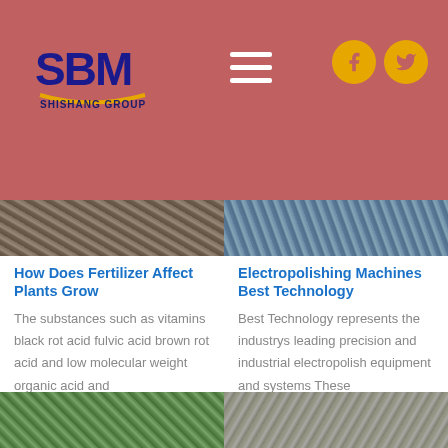[Figure (logo): SBM Shishang Group logo on dark rose/salmon header background]
[Figure (photo): Industrial machinery photo (left column, top)]
[Figure (photo): Industrial electropolishing equipment photo (right column, top)]
How Does Fertilizer Affect Plants Grow
The substances such as vitamins black rot acid fulvic acid brown rot acid and low molecular weight organic acid and
Electropolishing Machines Best Technology
Best Technology represents the industrys leading precision and industrial electropolish equipment and systems These
[Figure (photo): Industrial structure with blue equipment (bottom left)]
[Figure (photo): Industrial pipe or equipment (bottom right)]